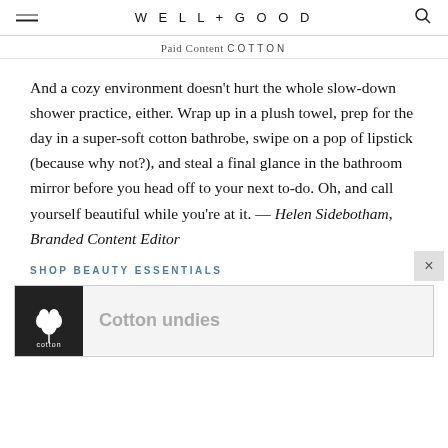WELL+GOOD
Paid Content COTTON
And a cozy environment doesn't hurt the whole slow-down shower practice, either. Wrap up in a plush towel, prep for the day in a super-soft cotton bathrobe, swipe on a pop of lipstick (because why not?), and steal a final glance in the bathroom mirror before you head off to your next to-do. Oh, and call yourself beautiful while you're at it. — Helen Sidebotham, Branded Content Editor
SHOP BEAUTY ESSENTIALS
[Figure (other): Cotton brand advertisement banner showing Cotton logo and text 'Cotton undies']